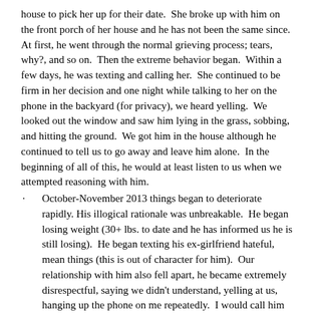house to pick her up for their date.  She broke up with him on the front porch of her house and he has not been the same since.  At first, he went through the normal grieving process; tears, why?, and so on.  Then the extreme behavior began.  Within a few days, he was texting and calling her.  She continued to be firm in her decision and one night while talking to her on the phone in the backyard (for privacy), we heard yelling.  We looked out the window and saw him lying in the grass, sobbing, and hitting the ground.  We got him in the house although he continued to tell us to go away and leave him alone.  In the beginning of all of this, he would at least listen to us when we attempted reasoning with him.
October-November 2013 things began to deteriorate rapidly.  His illogical rationale was unbreakable.  He began losing weight (30+ lbs. to date and he has informed us he is still losing).  He began texting his ex-girlfriend hateful, mean things (this is out of character for him).  Our relationship with him also fell apart, he became extremely disrespectful, saying we didn't understand, yelling at us, hanging up the phone on me repeatedly.  I would call him at college daily because I was so worried, trying to reinforce hope and healing.  Conversations were hard and almost nonexistent on his part.  Several times per week, he would be a basket case, crying uncontrollably, curling into a fetal position.  We tried being